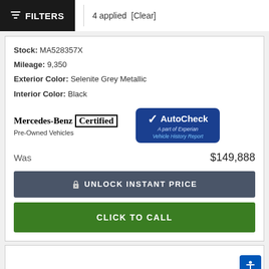FILTERS  4 applied  [Clear]
Stock: MA528357X
Mileage: 9,350
Exterior Color: Selenite Grey Metallic
Interior Color: Black
[Figure (logo): Mercedes-Benz Certified Pre-Owned Vehicles logo and AutoCheck Vehicle History Report badge side by side]
Was  $149,888
UNLOCK INSTANT PRICE
CLICK TO CALL